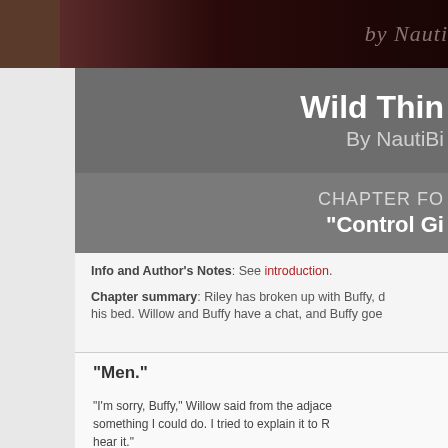[Figure (photo): Top banner image with dark reddish-brown background and italic text 'by NautiBi' partially visible on the right]
Wild Thin... By NautiBi...
CHAPTER FO... "Control Gi..."
Info and Author's Notes: See introduction.

Chapter summary: Riley has broken up with Buffy, ... his bed. Willow and Buffy have a chat, and Buffy goe...
"Men."

"I'm sorry, Buffy," Willow said from the adjaice... something I could do. I tried to explain it to R... hear it."

"I know, Will. And thanks for trying," Buffy sa... My God, I can... "A men" will be i...